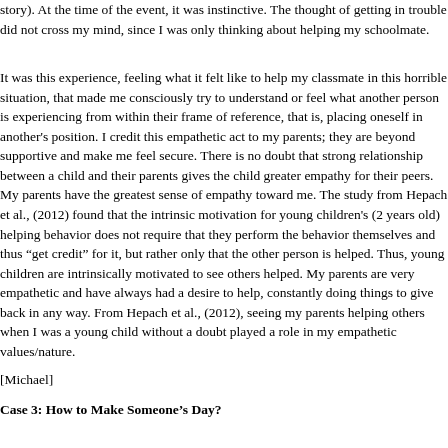story). At the time of the event, it was instinctive. The thought of getting in trouble did not cross my mind, since I was only thinking about helping my schoolmate.
It was this experience, feeling what it felt like to help my classmate in this horrible situation, that made me consciously try to understand or feel what another person is experiencing from within their frame of reference, that is, placing oneself in another's position. I credit this empathetic act to my parents; they are beyond supportive and make me feel secure. There is no doubt that strong relationship between a child and their parents gives the child greater empathy for their peers. My parents have the greatest sense of empathy toward me. The study from Hepach et al., (2012) found that the intrinsic motivation for young children's (2 years old) helping behavior does not require that they perform the behavior themselves and thus "get credit" for it, but rather only that the other person is helped. Thus, young children are intrinsically motivated to see others helped. My parents are very empathetic and have always had a desire to help, constantly doing things to give back in any way. From Hepach et al., (2012), seeing my parents helping others when I was a young child without a doubt played a role in my empathetic values/nature.
[Michael]
Case 3: How to Make Someone's Day?